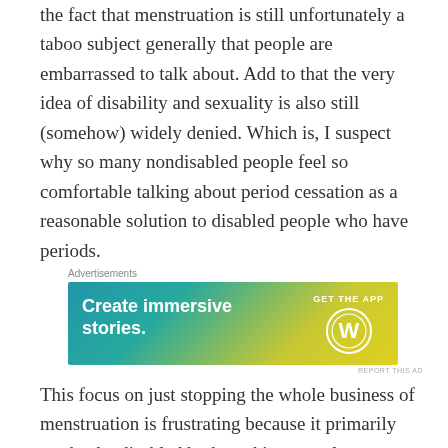the fact that menstruation is still unfortunately a taboo subject generally that people are embarrassed to talk about. Add to that the very idea of disability and sexuality is also still (somehow) widely denied. Which is, I suspect why so many nondisabled people feel so comfortable talking about period cessation as a reasonable solution to disabled people who have periods.
[Figure (other): Advertisement banner for WordPress app. Gradient background from teal to yellow-green. Text reads 'Create immersive stories.' on the left and 'GET THE APP' with WordPress logo on the right. Labeled 'Advertisements' above and 'REPORT THIS AD' below.]
This focus on just stopping the whole business of menstruation is frustrating because it primarily marks the disabled body and its natural